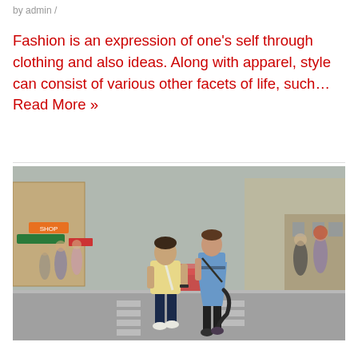by admin /
Fashion is an expression of one’s self through clothing and also ideas. Along with apparel, style can consist of various other facets of life, such… Read More »
[Figure (photo): Two people (a man in a yellow shirt and dark jeans, and a woman in a light blue dress with black tights) walking away from camera down a busy city street with blurred pedestrians and storefronts in the background.]